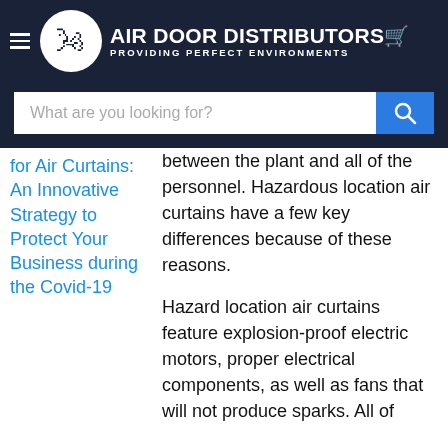AIR DOOR DISTRIBUTORS — PROVIDING PERFECT ENVIRONMENTS
What are you looking for?
for Air Curtains: An Innovative Strategy to Protect Your Business during the Covid-19
...between the plant and all of the personnel. Hazardous location air curtains have a few key differences because of these reasons.
Hazard location air curtains feature explosion-proof electric motors, proper electrical components, as well as fans that will not produce sparks. All of these features ensure that air curtains are safe to operate in a hazardous...